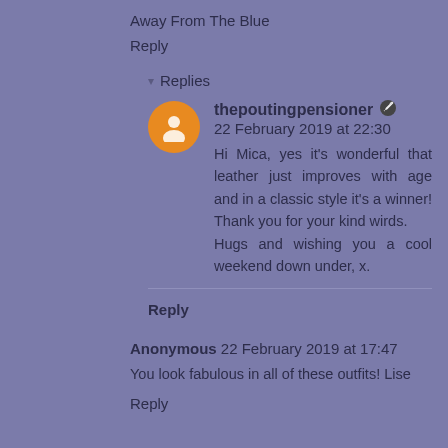Away From The Blue
Reply
Replies
thepoutingpensioner 22 February 2019 at 22:30
Hi Mica, yes it's wonderful that leather just improves with age and in a classic style it's a winner! Thank you for your kind wirds.
Hugs and wishing you a cool weekend down under, x.
Reply
Anonymous 22 February 2019 at 17:47
You look fabulous in all of these outfits! Lise
Reply